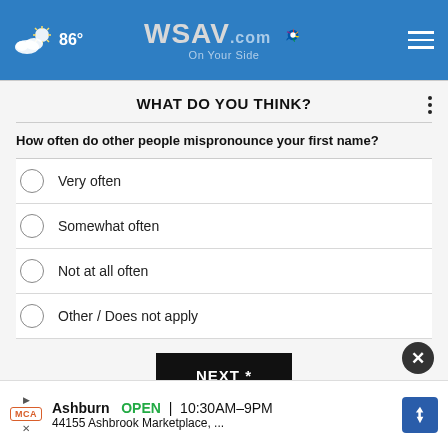86° WSAV.com On Your Side
WHAT DO YOU THINK?
How often do other people mispronounce your first name?
Very often
Somewhat often
Not at all often
Other / Does not apply
NEXT *
* By clicking "NEXT" you agree to the following: We use cookies to track your survey answers. If you would like to continue with this survey, please read and agree to the CivicScience Privacy Policy and Terms of Service
[Figure (other): Advertisement banner: Ashburn OPEN 10:30AM–9PM, 44155 Ashbrook Marketplace, ...]